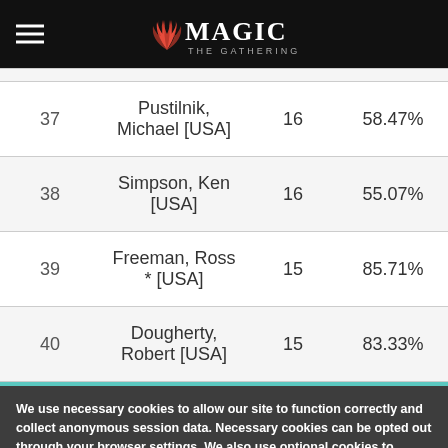Magic: The Gathering
| Rank | Player | Points | OMW% |
| --- | --- | --- | --- |
| 37 | Pustilnik, Michael [USA] | 16 | 58.47% |
| 38 | Simpson, Ken [USA] | 16 | 55.07% |
| 39 | Freeman, Ross * [USA] | 15 | 85.71% |
| 40 | Dougherty, Robert [USA] | 15 | 83.33% |
We use necessary cookies to allow our site to function correctly and collect anonymous session data. Necessary cookies can be opted out through your browser settings. We also use optional cookies to personalize content and ads, provide social medial features and analyze web traffic. By clicking "OK, I agree," you consent to optional cookies. (Learn more about cookies.)